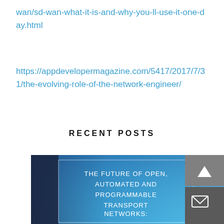wan/sd-wan-what-it-is-and-why-you-ll-use-it-one-day.html
https://appdevelopermagazine.com/5417/2017/7/31/the-evolving-role-of-the-network-engineer/
RECENT POSTS
[Figure (other): Blue gradient banner image with text: THE FUTURE OF OPEN, AUTOMATED AND PROGRAMMABLE TRANSPORT NETWORKS: (partially visible, cut off at bottom). Has a dark navy left panel and two UI buttons on the right (up arrow and envelope/mail icon).]